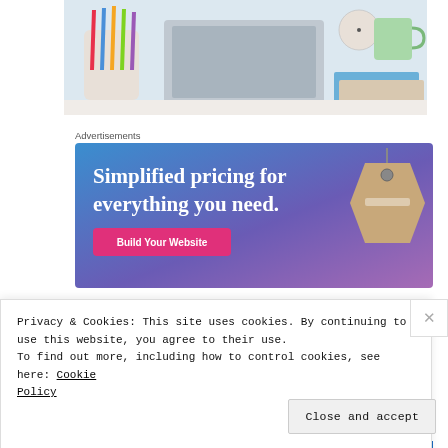[Figure (photo): Desk scene with colorful pencils in a holder, a laptop, a clock, a green mug, and notebooks on a white desk surface.]
Advertisements
[Figure (other): Advertisement banner with blue-to-purple gradient background, white serif text reading 'Simplified pricing for everything you need.', a pink 'Build Your Website' button, and a tan price tag graphic on the right.]
Privacy & Cookies: This site uses cookies. By continuing to use this website, you agree to their use.
To find out more, including how to control cookies, see here: Cookie Policy
Close and accept